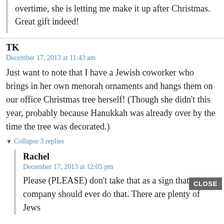overtime, she is letting me make it up after Christmas. Great gift indeed!
TK
December 17, 2013 at 11:43 am
Just want to note that I have a Jewish coworker who brings in her own menorah ornaments and hangs them on our office Christmas tree herself! (Though she didn't this year, probably because Hanukkah was already over by the time the tree was decorated.)
▼ Collapse 3 replies
Rachel
December 17, 2013 at 12:05 pm
Please (PLEASE) don't take that as a sign that any company should ever do that. There are plenty of Jews